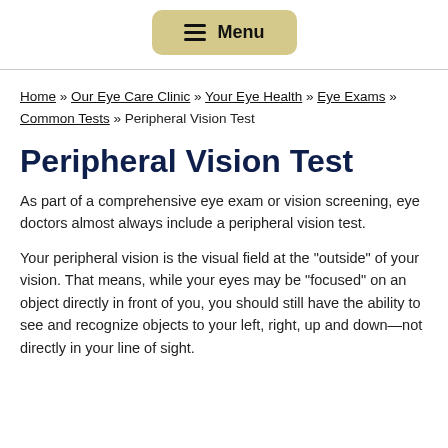Menu
Home » Our Eye Care Clinic » Your Eye Health » Eye Exams » Common Tests » Peripheral Vision Test
Peripheral Vision Test
As part of a comprehensive eye exam or vision screening, eye doctors almost always include a peripheral vision test.
Your peripheral vision is the visual field at the "outside" of your vision. That means, while your eyes may be "focused" on an object directly in front of you, you should still have the ability to see and recognize objects to your left, right, up and down—not directly in your line of sight.
...